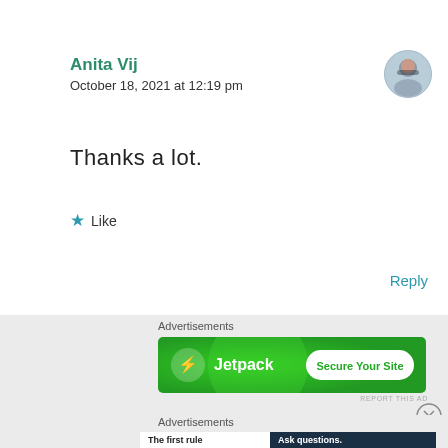Anita Vij
October 18, 2021 at 12:19 pm
[Figure (photo): User avatar photo of Anita Vij]
Thanks a lot.
★ Like
Reply
Advertisements
[Figure (screenshot): Jetpack advertisement banner with green background, Jetpack logo and 'Secure Your Site' button]
REPORT THIS AD
[Figure (illustration): Close button (X) circle icon]
Advertisements
[Figure (screenshot): WordPress Startup School advertisement with left white panel 'The first rule of Startup School?' and right dark panel 'Ask questions.' with WordPress and Y Combinator logos]